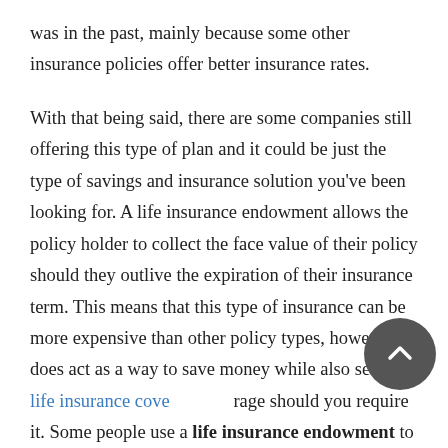was in the past, mainly because some other insurance policies offer better insurance rates.
With that being said, there are some companies still offering this type of plan and it could be just the type of savings and insurance solution you've been looking for. A life insurance endowment allows the policy holder to collect the face value of their policy should they outlive the expiration of their insurance term. This means that this type of insurance can be more expensive than other policy types, however, it does act as a way to save money while also securing life insurance coverage should you require it. Some people use a life insurance endowment to save for their children's educations or